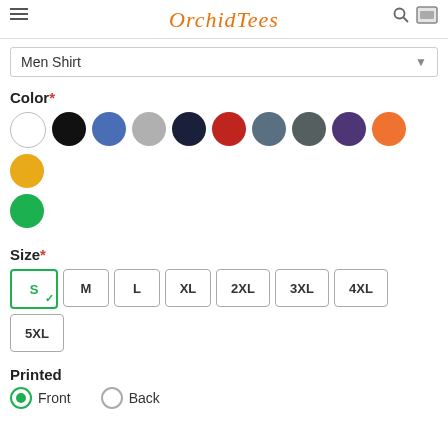OrchidTees
Men Shirt
Color*
[Figure (other): Color swatches: white, black, blue, light gray, navy, red, slate gray, dark gray, purple, orange, gold, green]
Size*
[Figure (other): Size buttons: S (selected), M, L, XL, 2XL, 3XL, 4XL, 5XL]
Printed
Front (selected radio), Back (unselected radio)